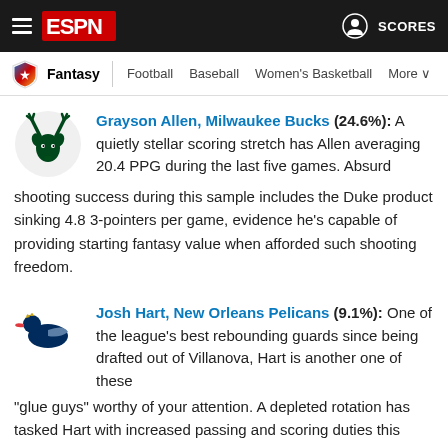ESPN — Fantasy | Football | Baseball | Women's Basketball | More | SCORES
Grayson Allen, Milwaukee Bucks (24.6%): A quietly stellar scoring stretch has Allen averaging 20.4 PPG during the last five games. Absurd shooting success during this sample includes the Duke product sinking 4.8 3-pointers per game, evidence he's capable of providing starting fantasy value when afforded such shooting freedom.
Josh Hart, New Orleans Pelicans (9.1%): One of the league's best rebounding guards since being drafted out of Villanova, Hart is another one of these "glue guys" worthy of your attention. A depleted rotation has tasked Hart with increased passing and scoring duties this season, working well